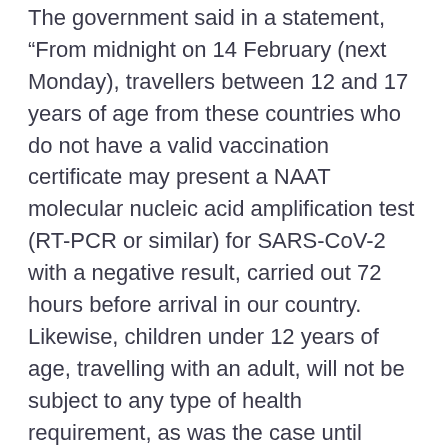The government said in a statement, "From midnight on 14 February (next Monday), travellers between 12 and 17 years of age from these countries who do not have a valid vaccination certificate may present a NAAT molecular nucleic acid amplification test (RT-PCR or similar) for SARS-CoV-2 with a negative result, carried out 72 hours before arrival in our country. Likewise, children under 12 years of age, travelling with an adult, will not be subject to any type of health requirement, as was the case until now."
Concerns had been raised following Spain’s previous decision, applying from 1 February, to formally adopt a EU Council recommendation for a coordinated approach to travel protocols.
A news release from the EU announcing the initiative